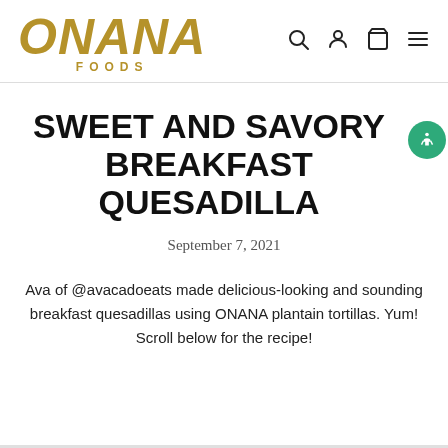[Figure (logo): ONANA FOODS logo in golden/olive colored bold italic text]
[Figure (illustration): Navigation icons: search magnifying glass, user profile, shopping bag, hamburger menu]
SWEET AND SAVORY BREAKFAST QUESADILLA
September 7, 2021
Ava of @avacadoeats made delicious-looking and sounding breakfast quesadillas using ONANA plantain tortillas. Yum! Scroll below for the recipe!